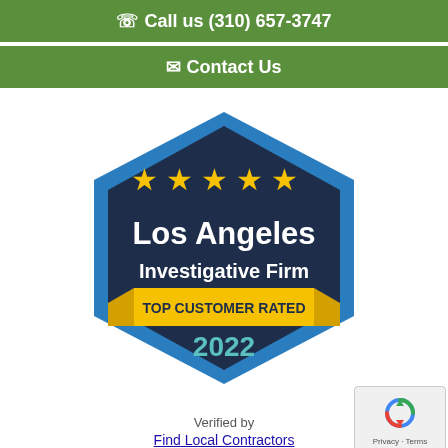📞 Call us (310) 657-3747
✉ Contact Us
[Figure (illustration): Award badge: Los Angeles Investigative Firm Top Customer Rated 2022. Dark navy hexagon badge with blue border, five gold stars, bold white text reading Los Angeles Investigative Firm, gold ribbon banner with TOP CUSTOMER RATED, and teal 2022 text.]
Verified by
Find Local Contractors